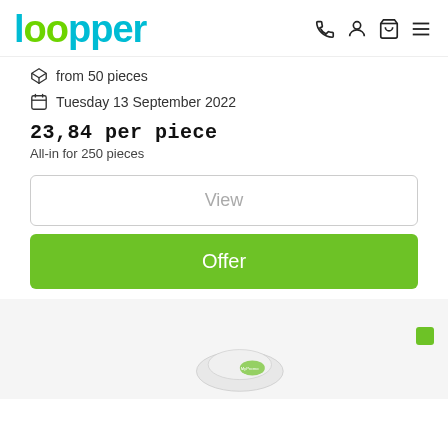loopper
from 50 pieces
Tuesday 13 September 2022
23,84 per piece
All-in for 250 pieces
View
Offer
[Figure (photo): Product preview image at the bottom of the page, partially visible]